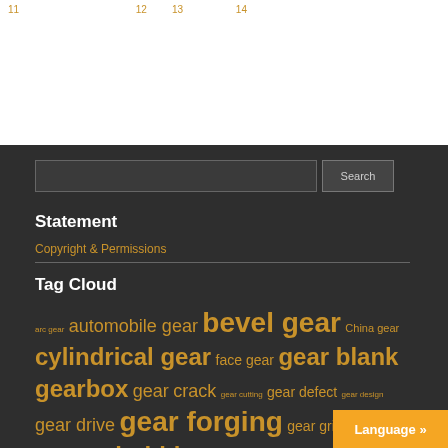11  12  13
Statement
Copyright & Permissions
Tag Cloud
arc gear automobile gear bevel gear China gear cylindrical gear face gear gear blank gearbox gear crack gear cutting gear defect gear design gear drive gear forging gear grinding gear hob gear hobbing gear machining gear manufacturing gear meshing gear pair gear processing gear shaft gear technology gear tooth gear